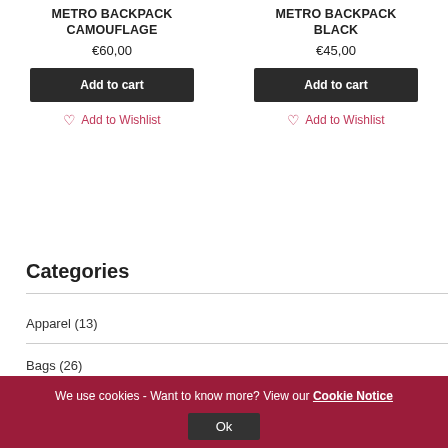METRO BACKPACK CAMOUFLAGE
€60,00
Add to cart
Add to Wishlist
METRO BACKPACK BLACK
€45,00
Add to cart
Add to Wishlist
Categories
Apparel (13)
Bags (26)
We use cookies - Want to know more? View our Cookie Notice
Ok